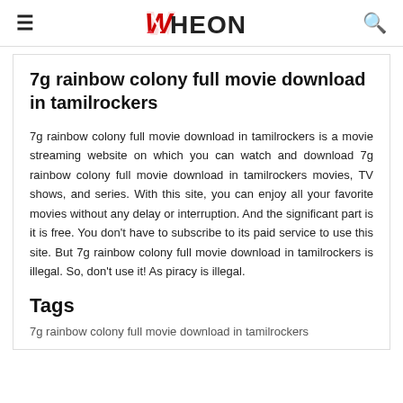≡  WHEON  🔍
7g rainbow colony full movie download in tamilrockers
7g rainbow colony full movie download in tamilrockers is a movie streaming website on which you can watch and download 7g rainbow colony full movie download in tamilrockers movies, TV shows, and series. With this site, you can enjoy all your favorite movies without any delay or interruption. And the significant part is it is free. You don't have to subscribe to its paid service to use this site. But 7g rainbow colony full movie download in tamilrockers is illegal. So, don't use it! As piracy is illegal.
Tags
7g rainbow colony full movie download in tamilrockers